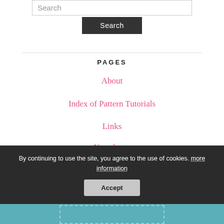Search
Search
PAGES
About
Index of Pattern Tutorials
Links
Newsletter
Press
By continuing to use the site, you agree to the use of cookies. more information
Accept
[Figure (other): Teal colored image strip at the bottom of the page]